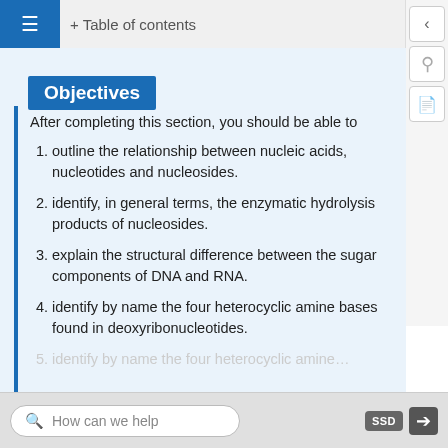≡  Table of contents
Objectives
After completing this section, you should be able to
outline the relationship between nucleic acids, nucleotides and nucleosides.
identify, in general terms, the enzymatic hydrolysis products of nucleosides.
explain the structural difference between the sugar components of DNA and RNA.
identify by name the four heterocyclic amine bases found in deoxyribonucleotides.
identify by name the four heterocyclic amine…
How can we help